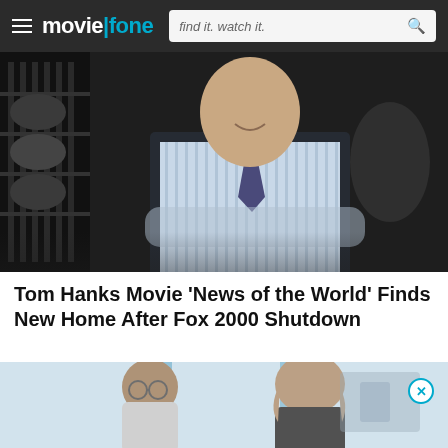moviefone | find it. watch it.
[Figure (photo): Tom Hanks in a striped shirt and tie with arms crossed, standing in a dimly lit industrial or warehouse setting with film reels in the background]
Tom Hanks Movie 'News of the World' Finds New Home After Fox 2000 Shutdown
[Figure (photo): Two men in conversation near large windows with blue structural elements in the background, one wearing glasses]